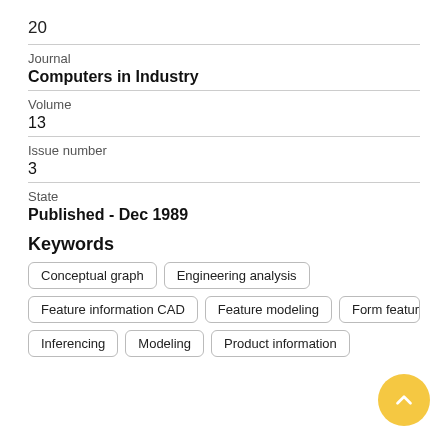20
Journal
Computers in Industry
Volume
13
Issue number
3
State
Published - Dec 1989
Keywords
Conceptual graph
Engineering analysis
Feature information CAD
Feature modeling
Form features
Inferencing
Modeling
Product information